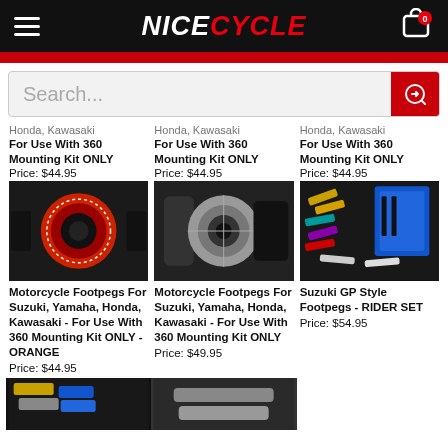NICECYCLE
Search...
Honda, Kawasaki
For Use With 360 Mounting Kit ONLY
Price: $44.95
Honda, Kawasaki
For Use With 360 Mounting Kit ONLY
Price: $44.95
Honda, Kawasaki
For Use With 360 Mounting Kit ONLY
Price: $44.95
[Figure (photo): Red motorcycle footpeg, orange/red knurled grip]
[Figure (photo): Silver/black motorcycle footpeg, knurled grip]
[Figure (photo): Suzuki GP Style Footpegs assorted colors on card]
Motorcycle Footpegs For Suzuki, Yamaha, Honda, Kawasaki - For Use With 360 Mounting Kit ONLY - ORANGE
Price: $44.95
Motorcycle Footpegs For Suzuki, Yamaha, Honda, Kawasaki - For Use With 360 Mounting Kit ONLY
Price: $49.95
Suzuki GP Style Footpegs - RIDER SET
Price: $54.95
[Figure (photo): Gold/colored footpegs partially visible at bottom left]
[Figure (photo): Footpeg partially visible at bottom right]